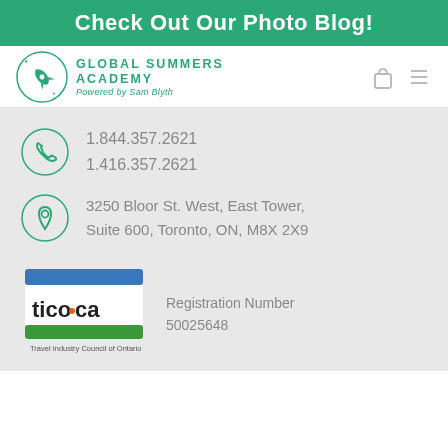Check Out Our Photo Blog!
[Figure (logo): Global Summers Academy logo with rocket icon, teal text reading GLOBAL SUMMERS ACADEMY Powered by Sam Blyth, plus shopping bag and hamburger menu icons]
1.844.357.2621
1.416.357.2621
3250 Bloor St. West, East Tower, Suite 600, Toronto, ON, M8X 2X9
[Figure (logo): tico.ca Travel Industry Council of Ontario logo with blue bar on top, green bar on bottom, orange dot in tico.ca text]
Registration Number
50025648